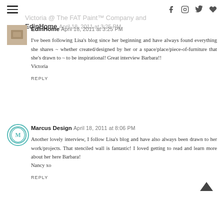Victoria @ The FAT Paint™ Company and EdinHome  April 18, 2011 at 3:25 PM
I've been following Lisa's blog since her beginning and have always found everything she shares ~ whether created/designed by her or a space/place/piece-of-furniture that she's drawn to ~ to be inspirational! Great interview Barbara!!
Victoria
REPLY
Marcus Design  April 18, 2011 at 8:06 PM
Another lovely interview, I follow Lisa's blog and have also always been drawn to her work/projects. That stenciled wall is fantastic! I loved getting to read and learn more about her here Barbara!
Nancy xo
REPLY